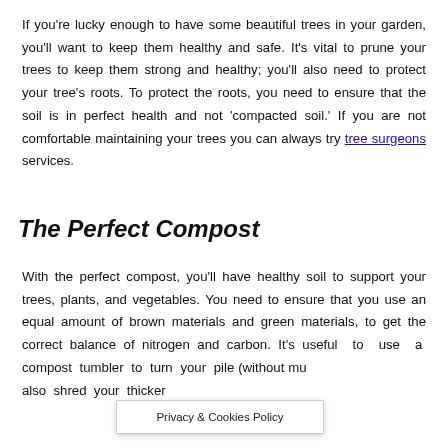If you're lucky enough to have some beautiful trees in your garden, you'll want to keep them healthy and safe. It's vital to prune your trees to keep them strong and healthy; you'll also need to protect your tree's roots. To protect the roots, you need to ensure that the soil is in perfect health and not 'compacted soil.' If you are not comfortable maintaining your trees you can always try tree surgeons services.
The Perfect Compost
With the perfect compost, you'll have healthy soil to support your trees, plants, and vegetables. You need to ensure that you use an equal amount of brown materials and green materials, to get the correct balance of nitrogen and carbon. It's useful to use a compost tumbler to turn your pile (without mu also shred your thicker
Privacy & Cookies Policy